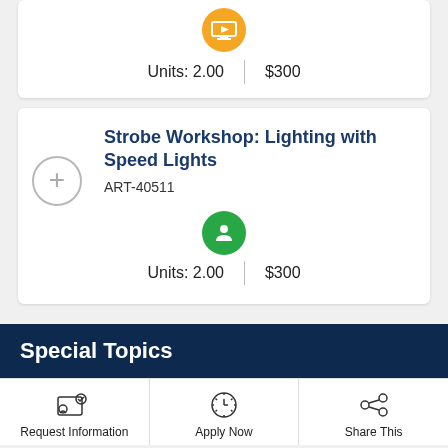[Figure (infographic): Top card showing online/video icon (orange circle), Units: 2.00 and $300]
Units: 2.00
$300
Strobe Workshop: Lighting with Speed Lights
ART-40511
[Figure (infographic): Green person/user icon circle]
Units: 2.00
$300
Special Topics
Request Information
Apply Now
Share This